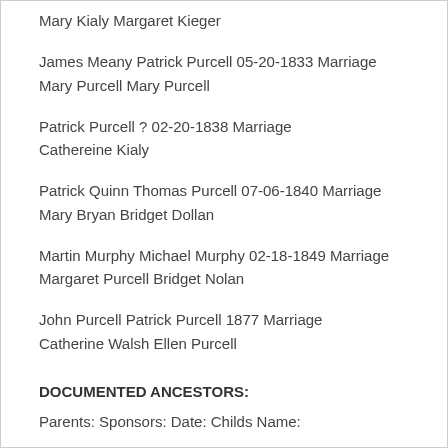Mary Kialy Margaret Kieger
James Meany Patrick Purcell 05-20-1833 Marriage
Mary Purcell Mary Purcell
Patrick Purcell ? 02-20-1838 Marriage
Cathereine Kialy
Patrick Quinn Thomas Purcell 07-06-1840 Marriage
Mary Bryan Bridget Dollan
Martin Murphy Michael Murphy 02-18-1849 Marriage
Margaret Purcell Bridget Nolan
John Purcell Patrick Purcell 1877 Marriage
Catherine Walsh Ellen Purcell
DOCUMENTED ANCESTORS:
Parents: Sponsors: Date: Childs Name: